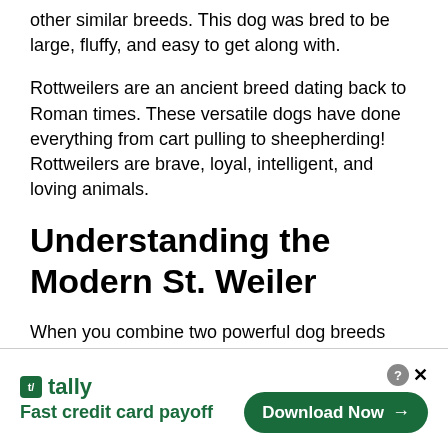other similar breeds. This dog was bred to be large, fluffy, and easy to get along with.
Rottweilers are an ancient breed dating back to Roman times. These versatile dogs have done everything from cart pulling to sheepherding! Rottweilers are brave, loyal, intelligent, and loving animals.
Understanding the Modern St. Weiler
When you combine two powerful dog breeds such as the Rottweiler and St. Bernard, the
[Figure (infographic): Tally app advertisement banner with green logo, tagline 'Fast credit card payoff', and 'Download Now' button]